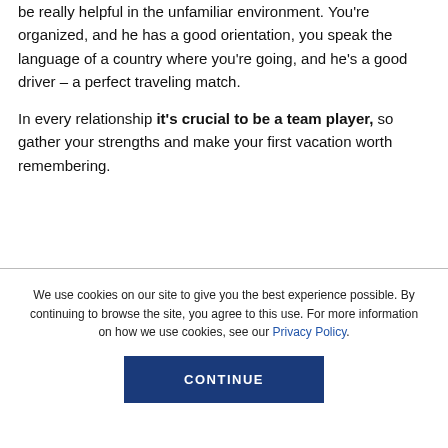be really helpful in the unfamiliar environment. You're organized, and he has a good orientation, you speak the language of a country where you're going, and he's a good driver – a perfect traveling match.
In every relationship it's crucial to be a team player, so gather your strengths and make your first vacation worth remembering.
We use cookies on our site to give you the best experience possible. By continuing to browse the site, you agree to this use. For more information on how we use cookies, see our Privacy Policy.
CONTINUE